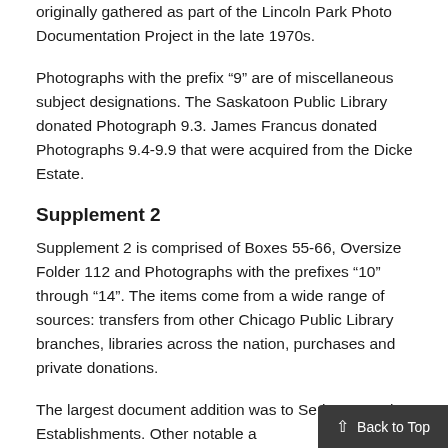originally gathered as part of the Lincoln Park Photo Documentation Project in the late 1970s.
Photographs with the prefix “9” are of miscellaneous subject designations. The Saskatoon Public Library donated Photograph 9.3. James Francus donated Photographs 9.4-9.9 that were acquired from the Dicke Estate.
Supplement 2
Supplement 2 is comprised of Boxes 55-66, Oversize Folder 112 and Photographs with the prefixes “10” through “14”. The items come from a wide range of sources: transfers from other Chicago Public Library branches, libraries across the nation, purchases and private donations.
The largest document addition was to Series 2: Business Establishments. Other notable a… include the Board of Education lawsuits…